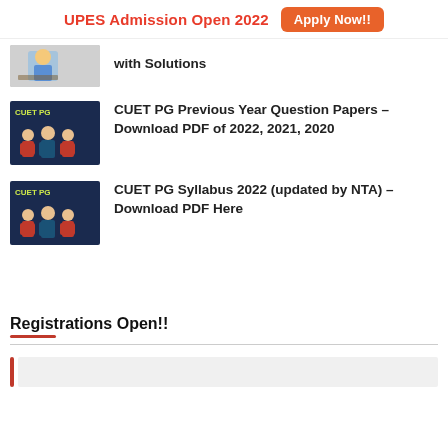UPES Admission Open 2022  Apply Now!!
with Solutions
CUET PG Previous Year Question Papers – Download PDF of 2022, 2021, 2020
CUET PG Syllabus 2022 (updated by NTA) – Download PDF Here
Registrations Open!!